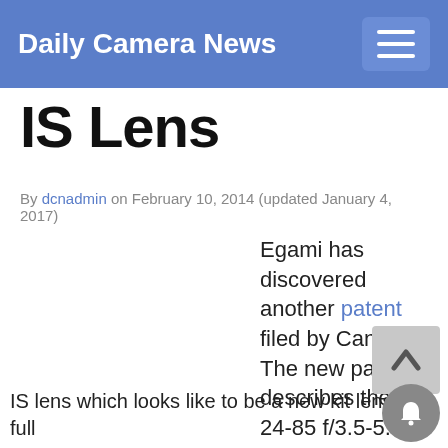Daily Camera News
IS Lens
By dcnadmin on February 10, 2014 (updated January 4, 2017)
Egami has discovered another patent filed by Canon. The new patent describes the EF 24-85 f/3.5-5.6 IS lens which looks like to be a new kit lens for full